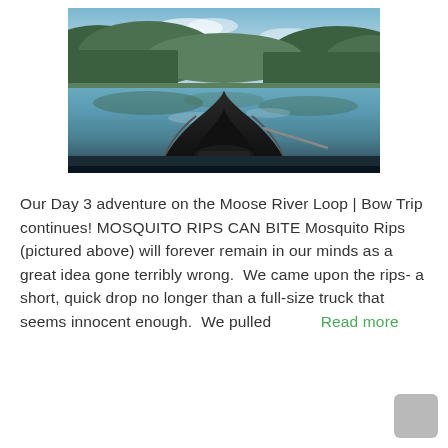[Figure (photo): View from the bow of a canoe on a calm river (Mosquito Rips, Moose River Loop), surrounded by green forested hills reflected in still water. The dark bow of the canoe is visible in the foreground.]
Our Day 3 adventure on the Moose River Loop | Bow Trip continues! MOSQUITO RIPS CAN BITE Mosquito Rips (pictured above) will forever remain in our minds as a great idea gone terribly wrong.  We came upon the rips- a short, quick drop no longer than a full-size truck that seems innocent enough.  We pulled...
Read more